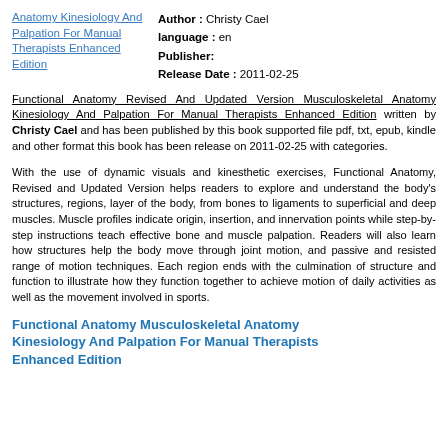Anatomy Kinesiology And Palpation For Manual Therapists Enhanced Edition
Author : Christy Cael
language : en
Publisher:
Release Date : 2011-02-25
Functional Anatomy Revised And Updated Version Musculoskeletal Anatomy Kinesiology And Palpation For Manual Therapists Enhanced Edition written by Christy Cael and has been published by this book supported file pdf, txt, epub, kindle and other format this book has been release on 2011-02-25 with categories.
With the use of dynamic visuals and kinesthetic exercises, Functional Anatomy, Revised and Updated Version helps readers to explore and understand the body's structures, regions, layer of the body, from bones to ligaments to superficial and deep muscles. Muscle profiles indicate origin, insertion, and innervation points while step-by-step instructions teach effective bone and muscle palpation. Readers will also learn how structures help the body move through joint motion, and passive and resisted range of motion techniques. Each region ends with the culmination of structure and function to illustrate how they function together to achieve motion of daily activities as well as the movement involved in sports.
Functional Anatomy Musculoskeletal Anatomy Kinesiology And Palpation For Manual Therapists Enhanced Edition